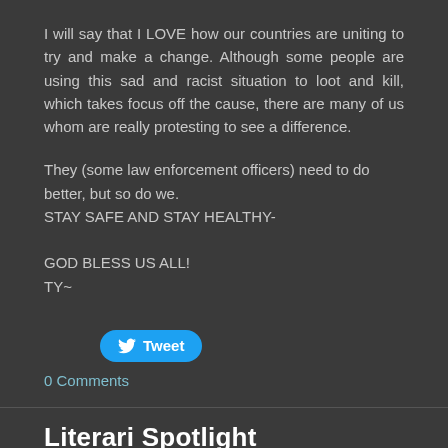I will say that I LOVE how our countries are uniting to try and make a change. Although some people are using this sad and racist situation to loot and kill, which takes focus off the cause, there are many of us whom are really protesting to see a difference.
They (some law enforcement officers) need to do better, but so do we.
STAY SAFE AND STAY HEALTHY-

GOD BLESS US ALL!
TY~
[Figure (other): Tweet button with Twitter bird icon]
0 Comments
Literari Spotlight
6/23/2016    0 Comments
Authors, here is a great way to gain